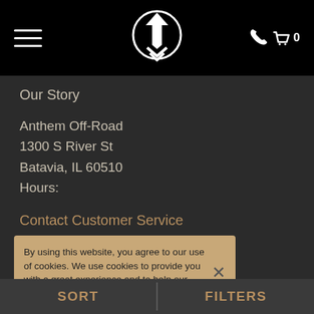Anthem Off-Road navigation header with logo, hamburger menu, phone icon, and cart
Our Story
Anthem Off-Road
1300 S River St
Batavia, IL 60510
Hours:
Contact Customer Service
Mon - Fri 9AM to 5:00PM CST
Contact Sales
By using this website, you agree to our use of cookies. We use cookies to provide you with a great experience and to help our website run effectively. Learn more
SORT | FILTERS